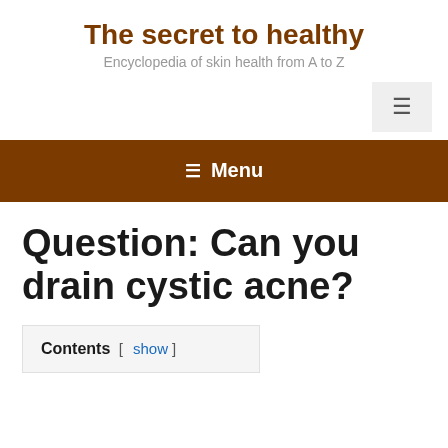The secret to healthy
Encyclopedia of skin health from A to Z
Question: Can you drain cystic acne?
Contents [ show ]